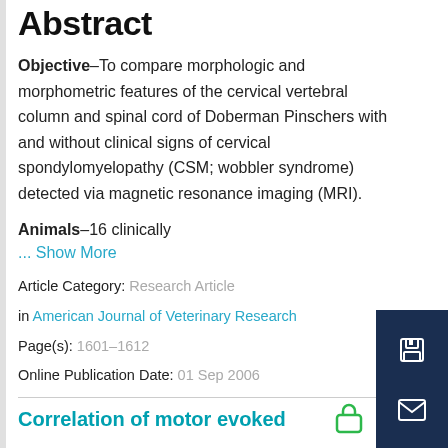Abstract
Objective–To compare morphologic and morphometric features of the cervical vertebral column and spinal cord of Doberman Pinschers with and without clinical signs of cervical spondylomyelopathy (CSM; wobbler syndrome) detected via magnetic resonance imaging (MRI).
Animals–16 clinically
... Show More
Article Category:  Research Article
in American Journal of Veterinary Research
Page(s):  1601–1612
Online Publication Date:  01 Sep 2006
Correlation of motor evoked